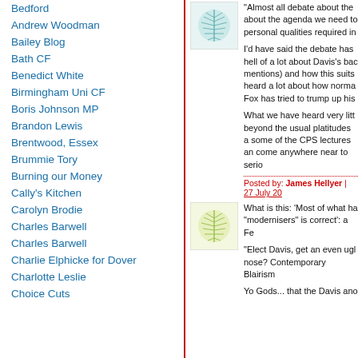Bedford
Andrew Woodman
Bailey Blog
Bath CF
Benedict White
Birmingham Uni CF
Boris Johnson MP
Brandon Lewis
Brentwood, Essex
Brummie Tory
Burning our Money
Cally's Kitchen
Carolyn Brodie
Charles Barwell
Charles Barwell
Charlie Elphicke for Dover
Charlotte Leslie
Choice Cuts
[Figure (illustration): Teal/green abstract leaf/feather pattern avatar image]
"Almost all debate about the agenda we need to about the agenda we need to personal qualities required in
I'd have said the debate has hell of a lot about Davis's bac mentions) and how this suits heard a lot about how norma Fox has tried to trump up his
What we have heard very litt beyond the usual platitudes a some of the CPS lectures an come anywhere near to serio
Posted by: James Hellyer | 27 July 20
[Figure (illustration): Yellow-green abstract leaf/feather pattern avatar image]
What is this: 'Most of what ha "modernisers" is correct': a Fe
"Elect Davis, get an even ugl nose? Contemporary Blairism
Yo Gods... that the Davis ano